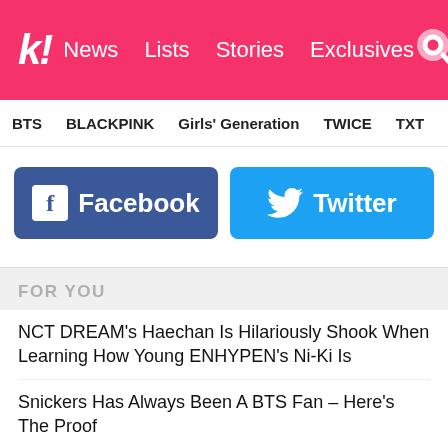k! News Lists Stories Exclusives
BTS BLACKPINK Girls' Generation TWICE TXT SEVE
[Figure (other): Facebook and Twitter social share buttons]
FOR YOU
NCT DREAM's Haechan Is Hilariously Shook When Learning How Young ENHYPEN's Ni-Ki Is
Snickers Has Always Been A BTS Fan – Here's The Proof
15 K-Pop Idols And Groups Who Spilled The Tea About Hating Their Own Songs
"Extraordinary Attorney Woo" Confirms Production Of